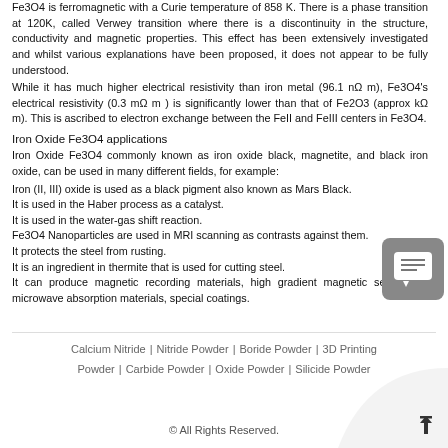Fe3O4 is ferromagnetic with a Curie temperature of 858 K. There is a phase transition at 120K, called Verwey transition where there is a discontinuity in the structure, conductivity and magnetic properties. This effect has been extensively investigated and whilst various explanations have been proposed, it does not appear to be fully understood.
While it has much higher electrical resistivity than iron metal (96.1 nΩ m), Fe3O4's electrical resistivity (0.3 mΩ m ) is significantly lower than that of Fe2O3 (approx kΩ m). This is ascribed to electron exchange between the FeII and FeIII centers in Fe3O4.
Iron Oxide Fe3O4 applications
Iron Oxide Fe3O4 commonly known as iron oxide black, magnetite, and black iron oxide, can be used in many different fields, for example:
Iron (II, III) oxide is used as a black pigment also known as Mars Black.
It is used in the Haber process as a catalyst.
It is used in the water-gas shift reaction.
Fe3O4 Nanoparticles are used in MRI scanning as contrasts against them.
It protects the steel from rusting.
It is an ingredient in thermite that is used for cutting steel.
It can produce magnetic recording materials, high gradient magnetic separators, microwave absorption materials, special coatings.
Calcium Nitride | Nitride Powder | Boride Powder | 3D Printing Powder | Carbide Powder | Oxide Powder | Silicide Powder
© All Rights Reserved.